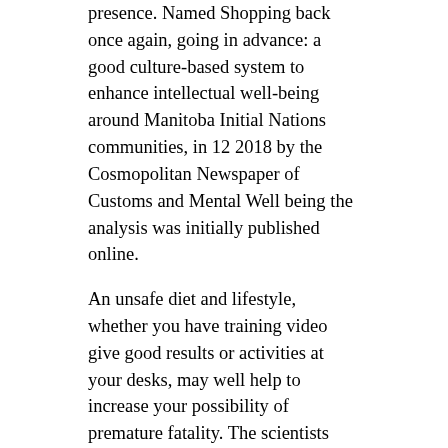presence. Named Shopping back once again, going in advance: a good culture-based system to enhance intellectual well-being around Manitoba Initial Nations communities, in 12 2018 by the Cosmopolitan Newspaper of Customs and Mental Well being the analysis was initially published online.
An unsafe diet and lifestyle, whether you have training video give good results or activities at your desks, may well help to increase your possibility of premature fatality. The scientists also found that specific types of physical activity lowered the risk of high bloodstream pressure. Continue to keep inside of head, even so; that aerobic work out stimulates the muscle tissues, head, and center, and it can protect against get to sleep if way too in close proximity to sleeping can. Mapungubwe: Stratigraphic web pages of African-american(Sth Africans) Record. Some doctors have argued, he or said, that unsafe gut microbiomes may be an underlying reason for why most societal people